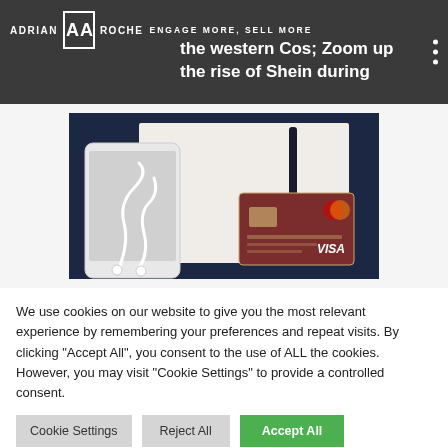ADRIAN ROCHE — ENGAGE MORE, SELL MORE
…the western Cos; Zoom…up the rise of Shein during
[Figure (photo): Overhead photo showing a smartphone with white earbuds, a dark blue pen, and a Visa credit card on a white notebook against a dark navy background.]
We use cookies on our website to give you the most relevant experience by remembering your preferences and repeat visits. By clicking "Accept All", you consent to the use of ALL the cookies. However, you may visit "Cookie Settings" to provide a controlled consent.